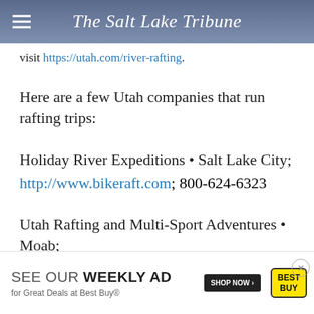The Salt Lake Tribune
visit https://utah.com/river-rafting.
Here are a few Utah companies that run rafting trips:
Holiday River Expeditions • Salt Lake City; http://www.bikeraft.com; 800-624-6323
Utah Rafting and Multi-Sport Adventures • Moab; http://www.oars.com/utah; 435-259-5865
Dinosa...
http://www... (faded)
[Figure (other): Best Buy weekly ad advertisement banner with 'SEE OUR WEEKLY AD for Great Deals at Best Buy® SHOP NOW' and Best Buy logo]